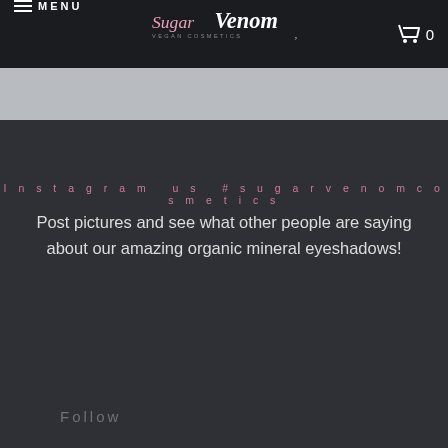MENU | SugarVenom | 0
Instagram us #sugarvenomcosmetics
Post pictures and see what other people are saying about our amazing organic mineral eyeshadows!
Follow